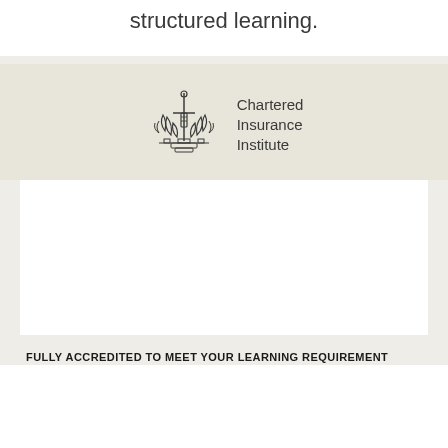structured learning.
[Figure (logo): Chartered Insurance Institute logo with shield/sword heraldic emblem and text 'Chartered Insurance Institute']
FULLY ACCREDITED TO MEET YOUR LEARNING REQUIREMENT